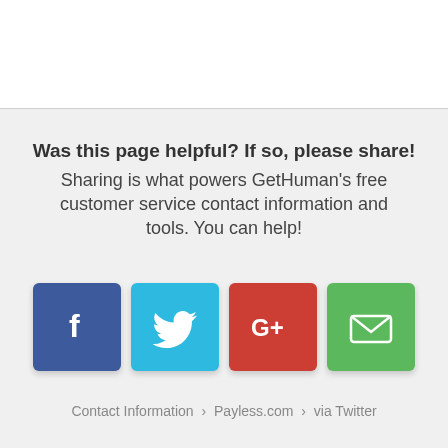Was this page helpful? If so, please share! Sharing is what powers GetHuman's free customer service contact information and tools. You can help!
[Figure (infographic): Four social share buttons: Facebook (blue), Twitter (cyan), Google+ (red), Email (green)]
Contact Information › Payless.com › via Twitter